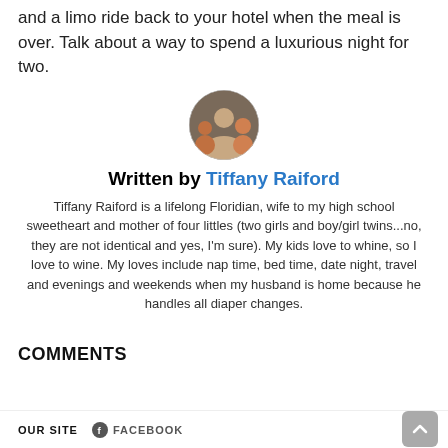and a limo ride back to your hotel when the meal is over. Talk about a way to spend a luxurious night for two.
[Figure (photo): Circular profile photo of author Tiffany Raiford with family]
Written by Tiffany Raiford
Tiffany Raiford is a lifelong Floridian, wife to my high school sweetheart and mother of four littles (two girls and boy/girl twins...no, they are not identical and yes, I'm sure). My kids love to whine, so I love to wine. My loves include nap time, bed time, date night, travel and evenings and weekends when my husband is home because he handles all diaper changes.
COMMENTS
OUR SITE   FACEBOOK